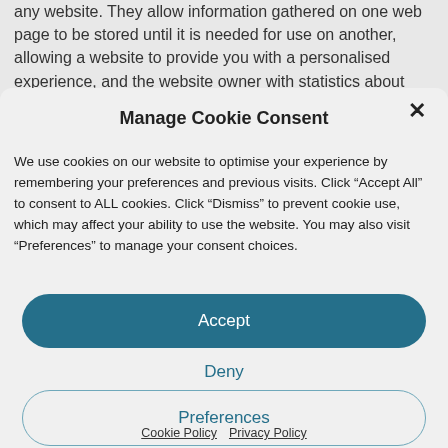any website. They allow information gathered on one web page to be stored until it is needed for use on another, allowing a website to provide you with a personalised experience, and the website owner with statistics about
Manage Cookie Consent
We use cookies on our website to optimise your experience by remembering your preferences and previous visits. Click “Accept All” to consent to ALL cookies. Click “Dismiss” to prevent cookie use, which may affect your ability to use the website. You may also visit “Preferences” to manage your consent choices.
Accept
Deny
Preferences
Cookie Policy   Privacy Policy